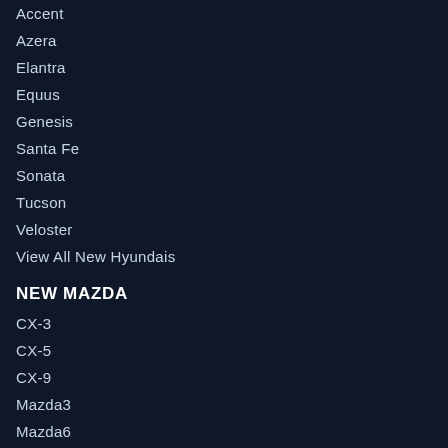Accent
Azera
Elantra
Equus
Genesis
Santa Fe
Sonata
Tucson
Veloster
View All New Hyundais
NEW MAZDA
CX-3
CX-5
CX-9
Mazda3
Mazda6
MX-5 Miata
View All New Mazdas